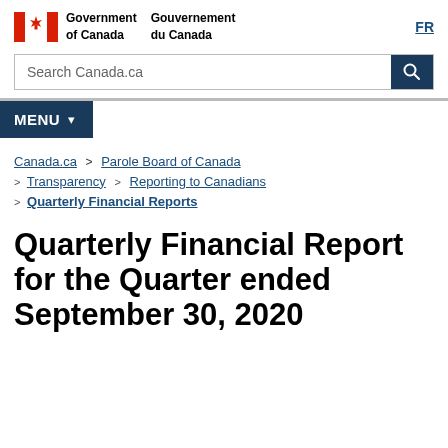[Figure (logo): Government of Canada / Gouvernement du Canada logo with Canadian flag (red and white maple leaf) and bilingual department name]
Government of Canada  Gouvernement du Canada  FR
Search Canada.ca
MENU
Canada.ca > Parole Board of Canada > Transparency > Reporting to Canadians > Quarterly Financial Reports
Quarterly Financial Report for the Quarter ended September 30, 2020